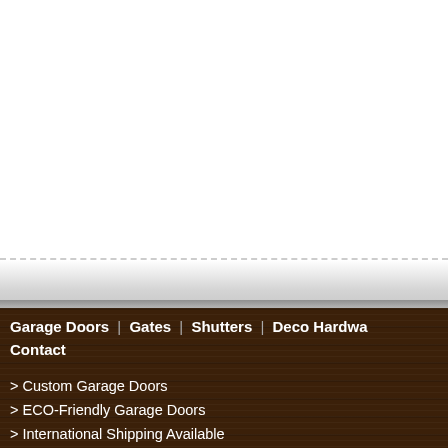[Figure (other): White blank area with a dashed horizontal rule and gray gradient transition to wood-textured background section below]
Garage Doors | Gates | Shutters | Deco Hardware Contact
> Custom Garage Doors
> ECO-Friendly Garage Doors
> International Shipping Available
> Real Carriage House Garage Doors
> Quality Solid Wood or Composite Craftsmanship